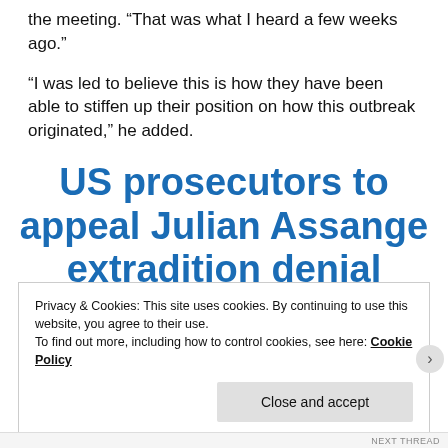the meeting. “That was what I heard a few weeks ago.”
“I was led to believe this is how they have been able to stiffen up their position on how this outbreak originated,” he added.
US prosecutors to appeal Julian Assange extradition denial
Privacy & Cookies: This site uses cookies. By continuing to use this website, you agree to their use.
To find out more, including how to control cookies, see here: Cookie Policy
Close and accept